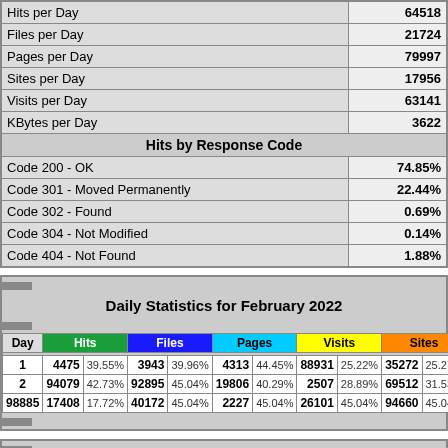| Metric | Value |
| --- | --- |
| Hits per Day | 64518 |
| Files per Day | 21724 |
| Pages per Day | 79997 |
| Sites per Day | 17956 |
| Visits per Day | 63141 |
| KBytes per Day | 3622 |
| Hits by Response Code |  |
| Code 200 - OK | 74.85% |
| Code 301 - Moved Permanently | 22.44% |
| Code 302 - Found | 0.69% |
| Code 304 - Not Modified | 0.14% |
| Code 404 - Not Found | 1.88% |
| Day | Hits |  | Files |  | Pages |  | Visits |  | Sites |  | KB |
| --- | --- | --- | --- | --- | --- | --- | --- | --- | --- | --- | --- |
| 1 | 4475 | 39.55% | 3943 | 39.96% | 4313 | 44.45% | 88931 | 25.22% | 35272 | 25.27% | 6… |
| 2 | 94079 | 42.73% | 92895 | 45.04% | 19806 | 40.29% | 2507 | 28.89% | 69512 | 31.53% | 2… |
| 98885 | 17408 | 17.72% | 40172 | 45.04% | 2227 | 45.04% | 26101 | 45.04% | 94660 | 45.04% |  |
Hourly Statistics for February 2022